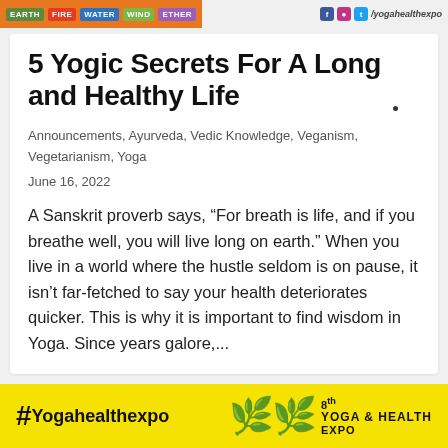EARTH FIRE WATER WIND ETHER / yogahealthexpo
5 Yogic Secrets For A Long and Healthy Life
Announcements, Ayurveda, Vedic Knowledge, Veganism, Vegetarianism, Yoga
June 16, 2022
A Sanskrit proverb says, “For breath is life, and if you breathe well, you will live long on earth.” When you live in a world where the hustle seldom is on pause, it isn’t far-fetched to say your health deteriorates quicker. This is why it is important to find wisdom in Yoga. Since years galore,...
#Yogahealthexpo  8th YOGA & HEALTH EXPO